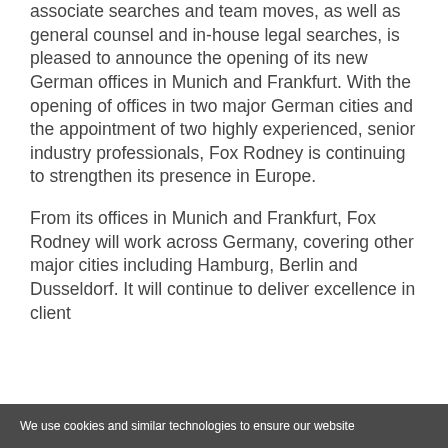associate searches and team moves, as well as general counsel and in-house legal searches, is pleased to announce the opening of its new German offices in Munich and Frankfurt. With the opening of offices in two major German cities and the appointment of two highly experienced, senior industry professionals, Fox Rodney is continuing to strengthen its presence in Europe.
From its offices in Munich and Frankfurt, Fox Rodney will work across Germany, covering other major cities including Hamburg, Berlin and Dusseldorf. It will continue to deliver excellence in client
We use cookies and similar technologies to ensure our website